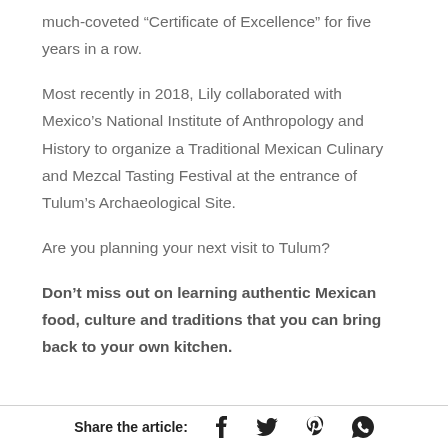much-coveted “Certificate of Excellence” for five years in a row.
Most recently in 2018, Lily collaborated with Mexico’s National Institute of Anthropology and History to organize a Traditional Mexican Culinary and Mezcal Tasting Festival at the entrance of Tulum’s Archaeological Site.
Are you planning your next visit to Tulum?
Don’t miss out on learning authentic Mexican food, culture and traditions that you can bring back to your own kitchen.
Share the article: